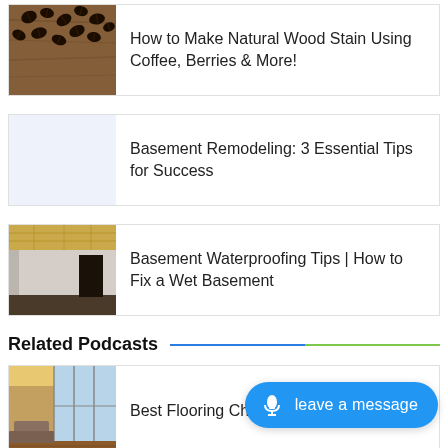[Figure (photo): Coffee beans scattered on a wooden surface, thumbnail for article]
How to Make Natural Wood Stain Using Coffee, Berries & More!
[Figure (illustration): Light blue placeholder thumbnail for basement remodeling article]
Basement Remodeling: 3 Essential Tips for Success
[Figure (photo): Empty basement room with wooden ceiling, door opening, and dark floor]
Basement Waterproofing Tips | How to Fix a Wet Basement
Related Podcasts
[Figure (photo): Modern room with large windows showing flooring, thumbnail for flooring podcast]
Best Flooring Ch… and Bath